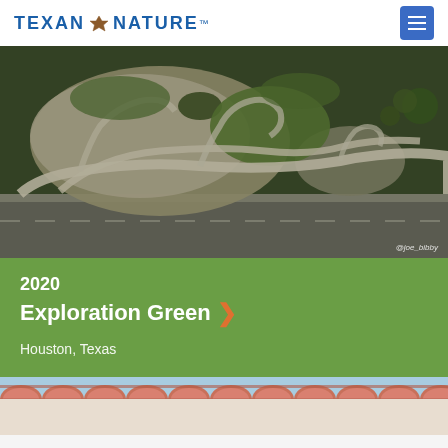TEXAN BY NATURE
[Figure (photo): Aerial photograph of Exploration Green park in Houston, Texas showing winding pathways, retention ponds, and green open space. Photo credit: @joe_bibby]
2020
Exploration Green
Houston, Texas
[Figure (photo): Partial view of a building with terracotta/clay tile roof against a blue sky, partially cropped at bottom of page]